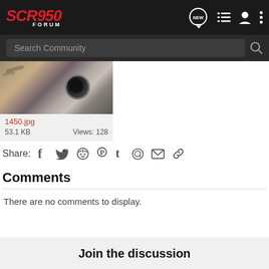SCR950 FORUM
Search Community
[Figure (photo): Close-up photo of a cat's eye, used as an image attachment thumbnail labeled 1450.jpg]
1450.jpg
53.1 KB   Views: 128
Share:  [Facebook] [Twitter] [Reddit] [Pinterest] [Tumblr] [WhatsApp] [Email] [Link]
Comments
There are no comments to display.
Join the discussion